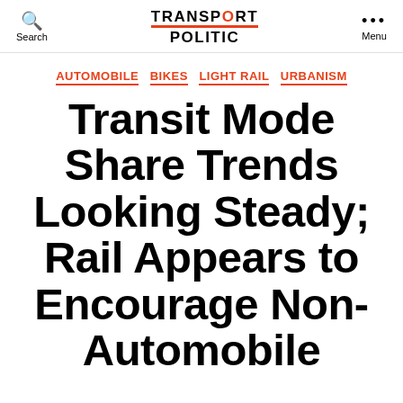Search | TRANSPORT POLITIC | Menu
AUTOMOBILE  BIKES  LIGHT RAIL  URBANISM
Transit Mode Share Trends Looking Steady; Rail Appears to Encourage Non-Automobile